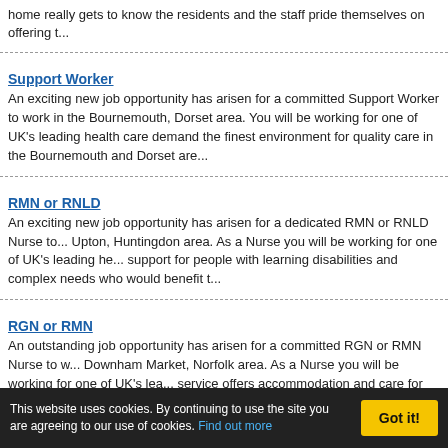home really gets to know the residents and the staff pride themselves on offering t...
Support Worker
An exciting new job opportunity has arisen for a committed Support Worker to work in the Bournemouth, Dorset area. You will be working for one of UK's leading health care demand the finest environment for quality care in the Bournemouth and Dorset are...
RMN or RNLD
An exciting new job opportunity has arisen for a dedicated RMN or RNLD Nurse to... Upton, Huntingdon area. As a Nurse you will be working for one of UK's leading he... support for people with learning disabilities and complex needs who would benefit t...
RGN or RMN
An outstanding job opportunity has arisen for a committed RGN or RMN Nurse to w... Downham Market, Norfolk area. As a Nurse you will be working for one of UK's lea... service offers accommodation and care for people. The home also provides nursin...
Senior Nurse (RGN or RMN)
An amazing new job opportunity has arisen for a committed Senior RGN or RMN to... the Thetford, Norfolk area. As a Nurse you will be working for one of UK's leading h...
This website uses cookies. By continuing to use the site you are agreeing to our use of cookies. Find out more   Got it!